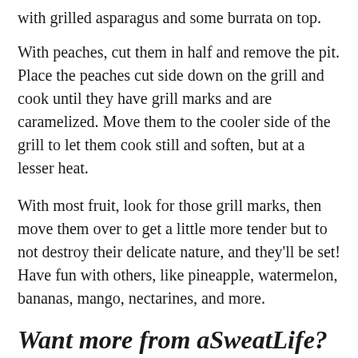with grilled asparagus and some burrata on top.
With peaches, cut them in half and remove the pit. Place the peaches cut side down on the grill and cook until they have grill marks and are caramelized. Move them to the cooler side of the grill to let them cook still and soften, but at a lesser heat.
With most fruit, look for those grill marks, then move them over to get a little more tender but to not destroy their delicate nature, and they’ll be set! Have fun with others, like pineapple, watermelon, bananas, mango, nectarines, and more.
Want more from aSweatLife? Get us in your inbox!